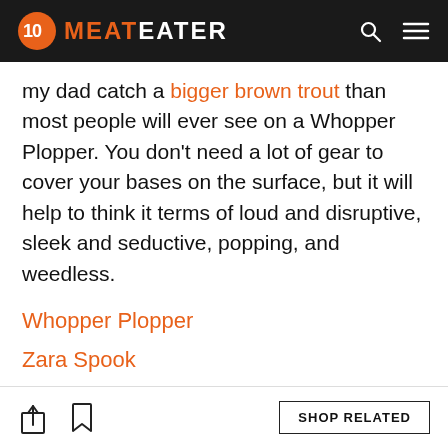MeatEater
my dad catch a bigger brown trout than most people will ever see on a Whopper Plopper. You don’t need a lot of gear to cover your bases on the surface, but it will help to think it terms of loud and disruptive, sleek and seductive, popping, and weedless.
Whopper Plopper
Zara Spook
Skitter Pop
Walking Frog
SHOP RELATED